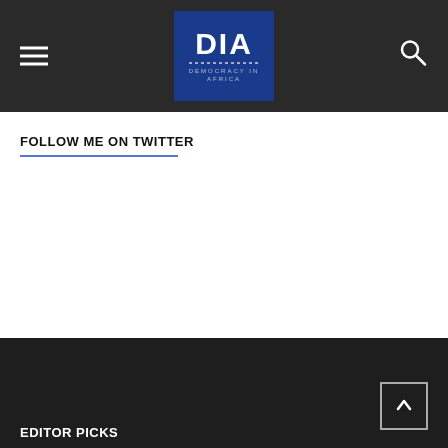DIA DEMOCRACY IN AFRICA
FOLLOW ME ON TWITTER
EDITOR PICKS